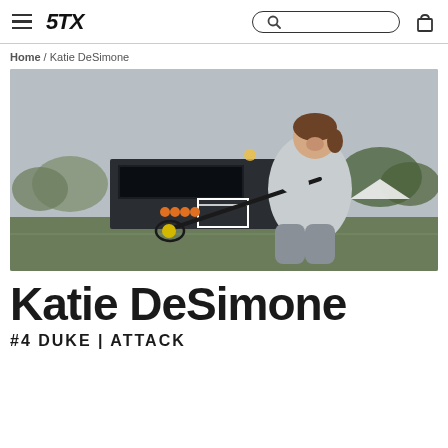≡  STX  🔍  🛒
Home / Katie DeSimone
[Figure (photo): Katie DeSimone holding a lacrosse stick on a field, smiling, wearing a grey sweatshirt and grey leggings. A scoreboard and goal are visible in the background.]
Katie DeSimone
#4 DUKE | ATTACK